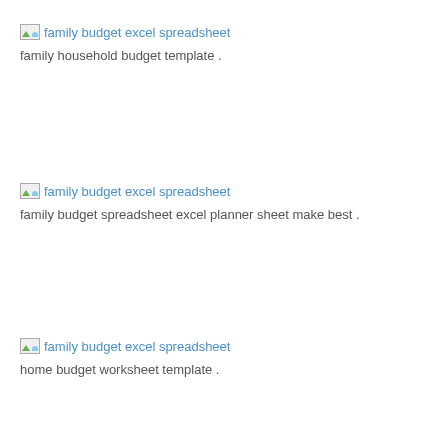[Figure (screenshot): Broken image placeholder with text 'family budget excel spreadsheet']
family household budget template .
[Figure (screenshot): Broken image placeholder with text 'family budget excel spreadsheet']
family budget spreadsheet excel planner sheet make best .
[Figure (screenshot): Broken image placeholder with text 'family budget excel spreadsheet']
home budget worksheet template .